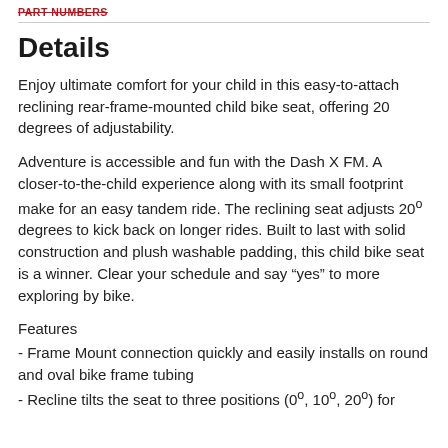PART NUMBERS
Details
Enjoy ultimate comfort for your child in this easy-to-attach reclining rear-frame-mounted child bike seat, offering 20 degrees of adjustability.
Adventure is accessible and fun with the Dash X FM. A closer-to-the-child experience along with its small footprint make for an easy tandem ride. The reclining seat adjusts 20º degrees to kick back on longer rides. Built to last with solid construction and plush washable padding, this child bike seat is a winner. Clear your schedule and say “yes” to more exploring by bike.
Features
- Frame Mount connection quickly and easily installs on round and oval bike frame tubing
- Recline tilts the seat to three positions (0º, 10º, 20º) for